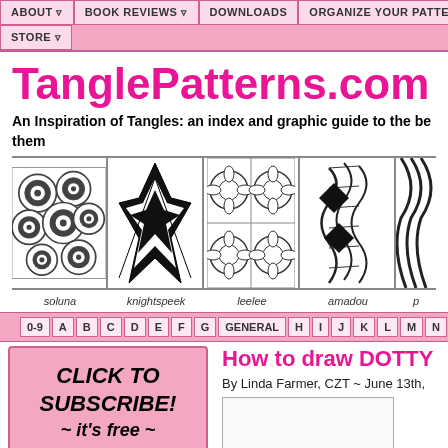ABOUT ▽  BOOK REVIEWS ▽  DOWNLOADS  ORGANIZE YOUR PATTERNS  SUB... STORE ▽
TanglePatterns.com
An Inspiration of Tangles: an index and graphic guide to the be... them
[Figure (photo): Strip of four tangle pattern images: soluna (circular overlapping designs), knightspeek (black diamond star pattern), leelee (grid of circular floral patterns), amadou (wavy striped organic forms)]
soluna   knightspeek   leelee   amadou   p
0-9  A  B  C  D  E  F  G  GENERAL  H  I  J  K  L  M  N
[Figure (other): Pink subscribe button: CLICK TO SUBSCRIBE! ~ it's free ~]
[Figure (other): Zentangle logo box]
How to draw DOTTY
By Linda Farmer, CZT ~ June 13th,
[Figure (other): White image box showing dotty pattern steps]